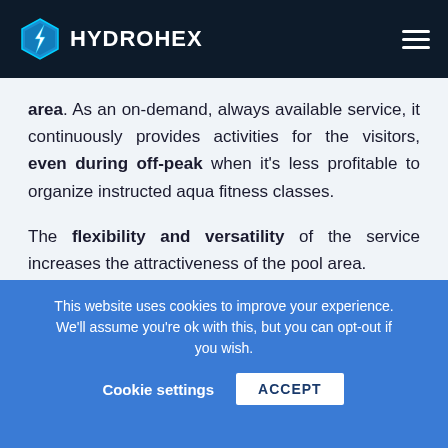HYDROHEX
area. As an on-demand, always available service, it continuously provides activities for the visitors, even during off-peak when it's less profitable to organize instructed aqua fitness classes.

The flexibility and versatility of the service increases the attractiveness of the pool area.
This website uses cookies to improve your experience. We'll assume you're ok with this, but you can opt-out if you wish. Cookie settings ACCEPT